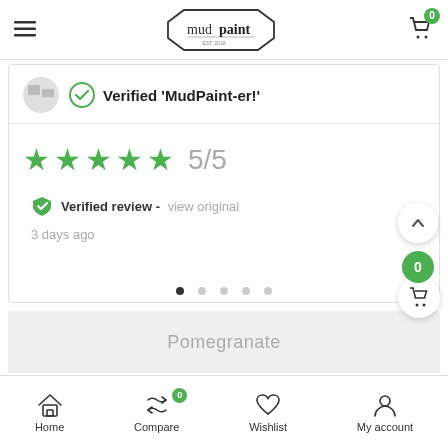mudpaint — navigation bar with logo and cart
Verified 'MudPaint-er!'
5/5
Verified review - view original
3 days ago
Pomegranate
Home  Compare  Wishlist  My account